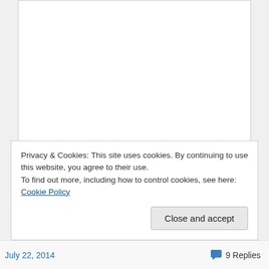Privacy & Cookies: This site uses cookies. By continuing to use this website, you agree to their use.
To find out more, including how to control cookies, see here: Cookie Policy
Close and accept
July 22, 2014   9 Replies